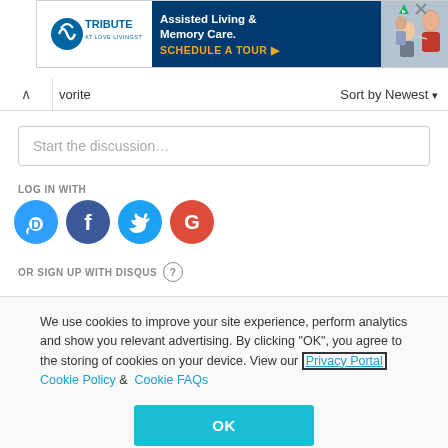[Figure (screenshot): Tribute Assisted Living & Memory Care advertisement banner with logo on left, dark blue background with text and 'SCHEDULE A TOUR ▶' CTA, and photo of elderly person with caregiver on right.]
vorite
Sort by Newest
Start the discussion…
LOG IN WITH
[Figure (logo): Social login icons: Disqus (D, blue circle), Facebook (f, dark blue circle), Twitter (bird, light blue circle), Google (G, red circle)]
OR SIGN UP WITH DISQUS ?
We use cookies to improve your site experience, perform analytics and show you relevant advertising. By clicking "OK", you agree to the storing of cookies on your device. View our Privacy Portal Cookie Policy & Cookie FAQs
OK